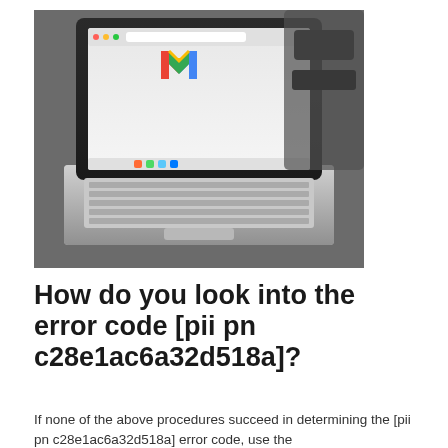[Figure (photo): A MacBook laptop on a desk showing Gmail (the Google M logo) on its screen, with a keyboard and other items in the background.]
How do you look into the error code [pii pn c28e1ac6a32d518a]?
If none of the above procedures succeed in determining the [pii pn c28e1ac6a32d518a] error code, use the